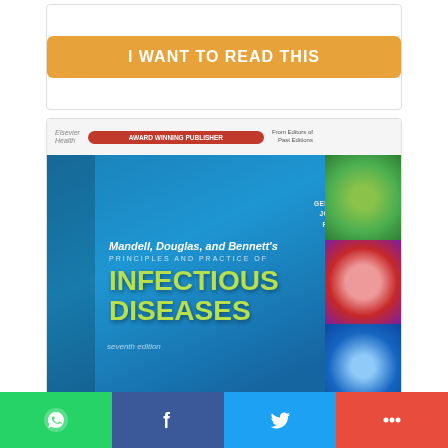[Figure (screenshot): Orange 'I WANT TO READ THIS' button on white card background]
[Figure (photo): Book cover of Mandell, Douglas, and Bennett's Principles and Practice of Infectious Diseases, seventh edition, by Gerald L. Mandell, John E. Bennett, Raphael Dolin. Blue cover with large yellow-green text reading INFECTIOUS DISEASES. Small microscopy images on right side.]
[Figure (screenshot): Social media sharing bar at bottom with WhatsApp (green), Facebook (dark blue), Twitter (light blue), and More (red) buttons with icons]